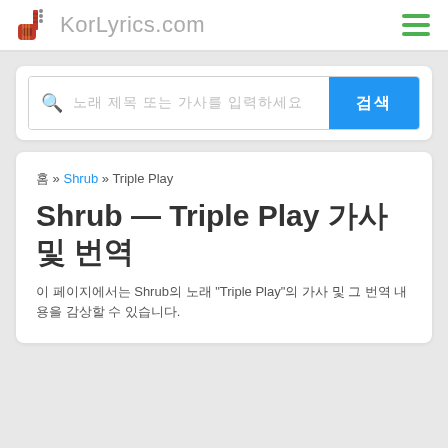KorLyrics.com
노래 제목 또는 가사를 검색 | 검색
홈 » Shrub » Triple Play
Shrub — Triple Play 가사 및 번역
이 페이지에서는 Shrub의 노래 "Triple Play"의 가사 및 그 번역 내용을 감상할 수 있습니다.